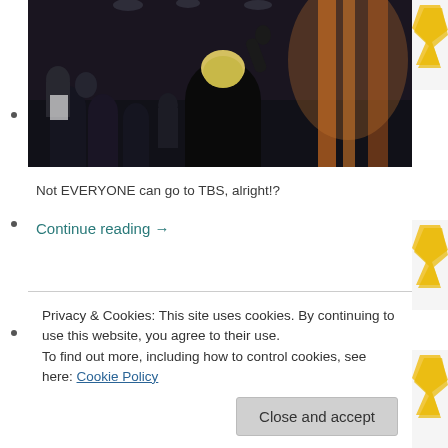[Figure (photo): A dark scene showing people at what appears to be a TV show or event, with a person in a black jacket seen from behind with hand raised, audience visible in background, warm orange/amber lighting on right side.]
Not EVERYONE can go to TBS, alright!?
Continue reading →
Privacy & Cookies: This site uses cookies. By continuing to use this website, you agree to their use.
To find out more, including how to control cookies, see here: Cookie Policy
Close and accept